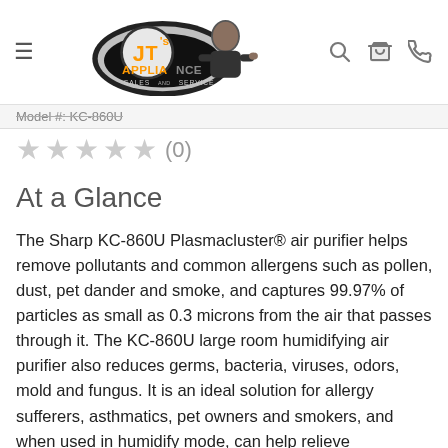[Figure (logo): JT's Appliance Sales and Service logo with cartoon mascot character]
Model #: KC-860U
★★★★★ (0)
At a Glance
The Sharp KC-860U Plasmacluster® air purifier helps remove pollutants and common allergens such as pollen, dust, pet dander and smoke, and captures 99.97% of particles as small as 0.3 microns from the air that passes through it. The KC-860U large room humidifying air purifier also reduces germs, bacteria, viruses, odors, mold and fungus. It is an ideal solution for allergy sufferers, asthmatics, pet owners and smokers, and when used in humidify mode, can help relieve congestion, cough, and dry and swollen nasal passages. It is best used in a bedroom, living room, study or exercise room.